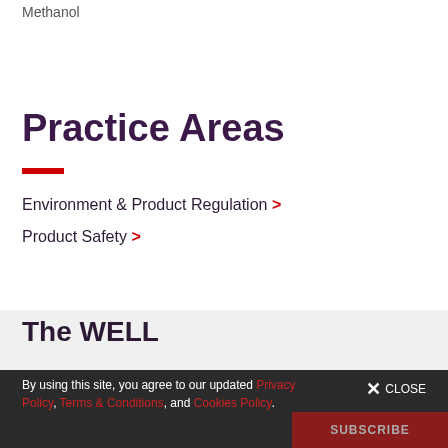Methanol
Practice Areas
Environment & Product Regulation >
Product Safety >
The WELL
Sign up for updates
By using this site, you agree to our updated Privacy Policy, Terms & Conditions, and Cookies Policy.
CLOSE
SUBSCRIBE